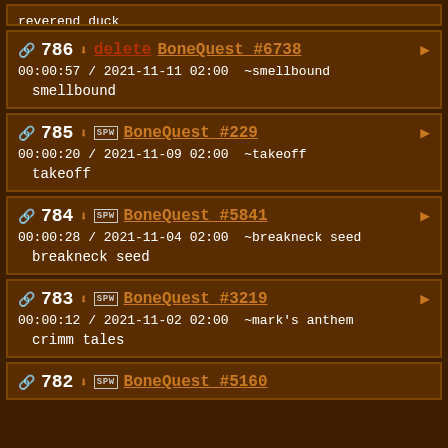reverend duck
786 | [delete] BoneQuest #6738 | 00:00:57 / 2021-11-11 02:00 ~smellbound | smellbound
785 | [SPW] BoneQuest #229 | 00:00:20 / 2021-11-09 02:00 ~takeoff | takeoff
784 | [SPW] BoneQuest #5841 | 00:00:28 / 2021-11-04 02:00 ~breakneck seed | breakneck seed
783 | [SPW] BoneQuest #3219 | 00:00:12 / 2021-11-02 02:00 ~mark's anthem | crimm tales
782 | BoneQuest #5160